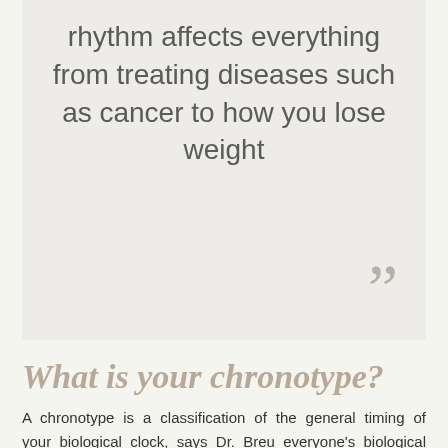rhythm affects everything from treating diseases such as cancer to how you lose weight ”
What is your chronotype?
A chronotype is a classification of the general timing of your biological clock, says Dr. Breu everyone's biological clock is the same, how it is usually genetic. Depending on your type you